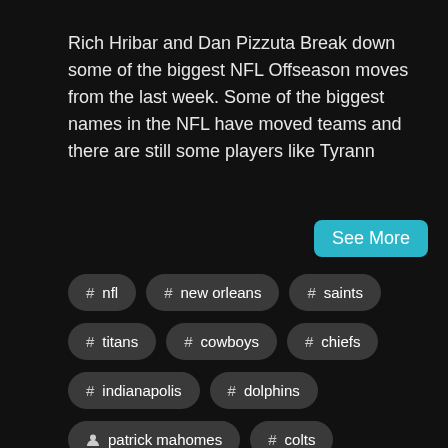Rich Hribar and Dan Pizzuta Break down some of the biggest NFL Offseason moves from the last week. Some of the biggest names in the NFL have moved teams and there are still some players like Tyrann
See More
# nfl
# new orleans
# saints
# titans
# cowboys
# chiefs
# indianapolis
# dolphins
person patrick mahomes
# colts
person drew brees
# sharp
# nightmares
person carson wentz